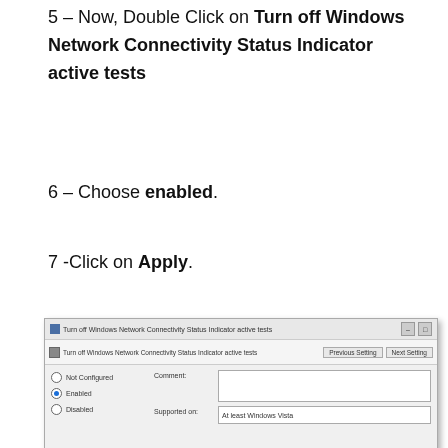5 – Now, Double Click on Turn off Windows Network Connectivity Status Indicator active tests
6 – Choose enabled.
7 -Click on Apply.
[Figure (screenshot): Windows Group Policy dialog for 'Turn off Windows Network Connectivity Status Indicator active tests' showing Enabled radio button selected, with Comment field and Supported on: At least Windows Vista, plus Previous Setting and Next Setting buttons.]